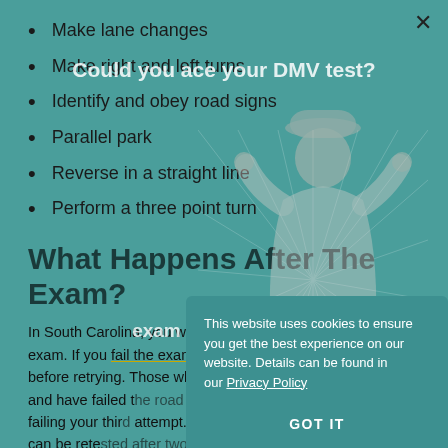Make lane changes
Make right and left turns
Identify and obey road signs
Parallel park
Reverse in a straight line
Perform a three point turn
What Happens After The Exam?
In South Carolina, you will have two tries to pass the road exam. If you fail the exam twice, you must wait two weeks before retrying. Those who currently hold a driver's license and have failed the road test may lose their license upon failing your third attempt. If you do not hold a license, you can be retested after two weeks.
Those who pass the road test will be issued a license renewal.
[Figure (photo): Young woman in winter outfit smiling, overlaid on page]
This website uses cookies to ensure you get the best experience on our website. Details can be found in our Privacy Policy
GOT IT